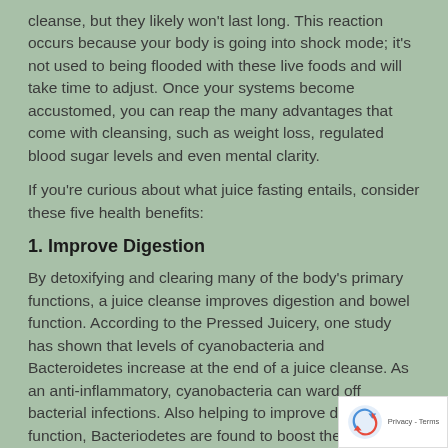cleanse, but they likely won't last long. This reaction occurs because your body is going into shock mode; it's not used to being flooded with these live foods and will take time to adjust. Once your systems become accustomed, you can reap the many advantages that come with cleansing, such as weight loss, regulated blood sugar levels and even mental clarity.
If you're curious about what juice fasting entails, consider these five health benefits:
1. Improve Digestion
By detoxifying and clearing many of the body's primary functions, a juice cleanse improves digestion and bowel function. According to the Pressed Juicery, one study has shown that levels of cyanobacteria and Bacteroidetes increase at the end of a juice cleanse. As an anti-inflammatory, cyanobacteria can ward off bacterial infections. Also helping to improve digestive function, Bacteriodetes are found to boost the function and development of the gastrointestinal tract.